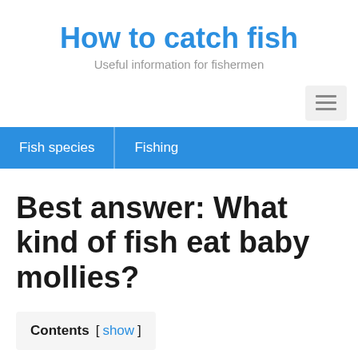How to catch fish
Useful information for fishermen
Best answer: What kind of fish eat baby mollies?
Contents [ show ]